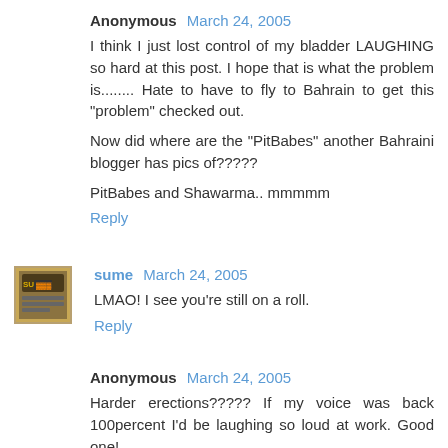Anonymous March 24, 2005
I think I just lost control of my bladder LAUGHING so hard at this post. I hope that is what the problem is........ Hate to have to fly to Bahrain to get this "problem" checked out.
Now did where are the "PitBabes" another Bahraini blogger has pics of?????
PitBabes and Shawarma.. mmmmm
Reply
sume March 24, 2005
LMAO! I see you're still on a roll.
Reply
Anonymous March 24, 2005
Harder erections????? If my voice was back 100percent I'd be laughing so loud at work. Good one!